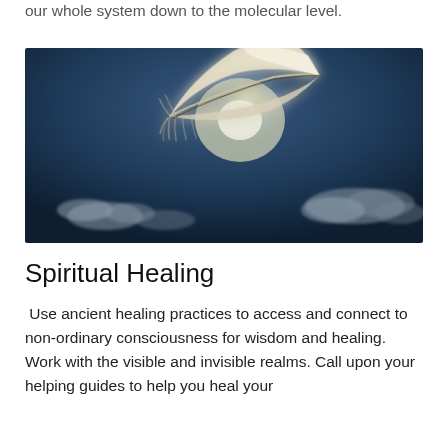our whole system down to the molecular level.
[Figure (photo): A white feather floating against a dark blue sky with wispy clouds, backlit by a bright light source resembling the sun.]
Spiritual Healing
Use ancient healing practices to access and connect to non-ordinary consciousness for wisdom and healing. Work with the visible and invisible realms. Call upon your helping guides to help you heal your